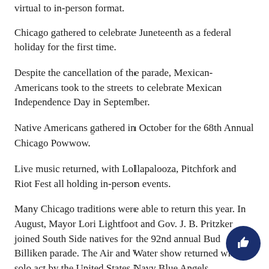virtual to in-person format.
Chicago gathered to celebrate Juneteenth as a federal holiday for the first time.
Despite the cancellation of the parade, Mexican-Americans took to the streets to celebrate Mexican Independence Day in September.
Native Americans gathered in October for the 68th Annual Chicago Powwow.
Live music returned, with Lollapalooza, Pitchfork and Riot Fest all holding in-person events.
Many Chicago traditions were able to return this year. In August, Mayor Lori Lightfoot and Gov. J. B. Pritzker joined South Side natives for the 92nd annual Bud Billiken parade. The Air and Water show returned with a solo act by the United States Navy Blue Angels.